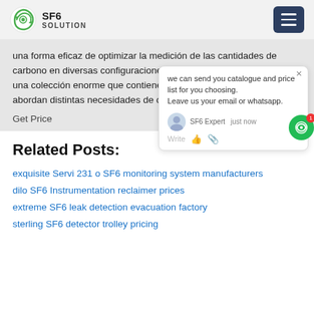SF6 SOLUTION
una forma eficaz de optimizar la medición de las cantidades de carbono en diversas configuraciones de investigación. Vienen en una colección enorme que contiene diversas marcas y modelos que abordan distintas necesidades de captura de carbono.
Get Price
[Figure (screenshot): Chat popup overlay showing message: 'we can send you catalogue and price list for you choosing. Leave us your email or whatsapp.' with SF6 Expert label and 'just now' timestamp, write input area with thumb and clip icons. Green circular chat button with red badge showing 1.]
Related Posts:
exquisite Servi 231 o SF6 monitoring system manufacturers
dilo SF6 Instrumentation reclaimer prices
extreme SF6 leak detection evacuation factory
sterling SF6 detector trolley pricing